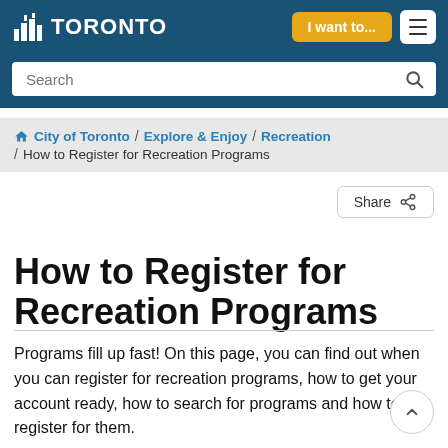[Figure (logo): City of Toronto logo with building icon and TORONTO text in white on dark blue header bar]
City of Toronto website header with navigation: 'I want to...' button and menu icon
Search
City of Toronto / Explore & Enjoy / Recreation / How to Register for Recreation Programs
How to Register for Recreation Programs
Programs fill up fast! On this page, you can find out when you can register for recreation programs, how to get your account ready, how to search for programs and how to register for them.